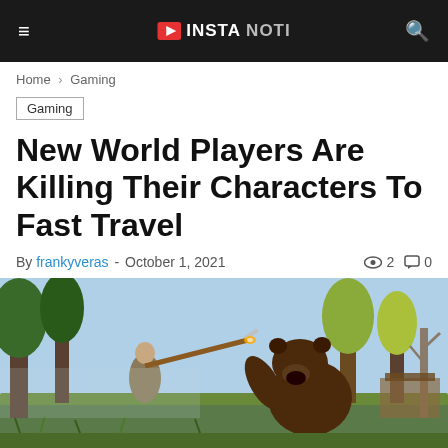☰  INSTA NOTI  🔍
Home › Gaming
Gaming
New World Players Are Killing Their Characters To Fast Travel
By frankyveras - October 1, 2021  👁 2  💬 0
[Figure (photo): Screenshot from the game New World showing a character fighting a large bear in a forest setting with trees and wooden structures in the background.]